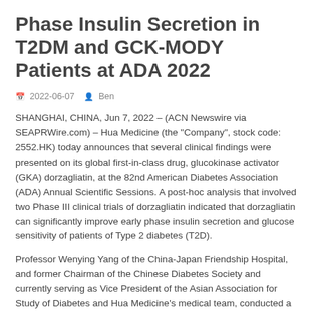Phase Insulin Secretion in T2DM and GCK-MODY Patients at ADA 2022
2022-06-07  Ben
SHANGHAI, CHINA, Jun 7, 2022 – (ACN Newswire via SEAPRWire.com) – Hua Medicine (the "Company", stock code: 2552.HK) today announces that several clinical findings were presented on its global first-in-class drug, glucokinase activator (GKA) dorzagliatin, at the 82nd American Diabetes Association (ADA) Annual Scientific Sessions. A post-hoc analysis that involved two Phase III clinical trials of dorzagliatin indicated that dorzagliatin can significantly improve early phase insulin secretion and glucose sensitivity of patients of Type 2 diabetes (T2D).
Professor Wenying Yang of the China-Japan Friendship Hospital, and former Chairman of the Chinese Diabetes Society and currently serving as Vice President of the Asian Association for Study of Diabetes and Hua Medicine's medical team, conducted a multivariate logistic regression analysis of